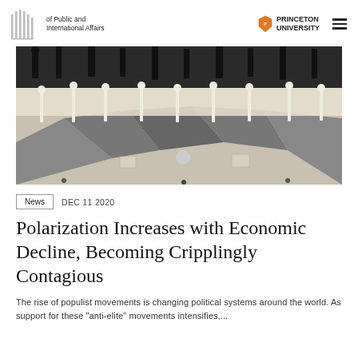of Public and International Affairs | PRINCETON UNIVERSITY
[Figure (illustration): Abstract artwork showing silhouetted figures in black and white, appearing to walk or hang in a geometric grey environment.]
News  DEC 11 2020
Polarization Increases with Economic Decline, Becoming Cripplingly Contagious
The rise of populist movements is changing political systems around the world. As support for these "anti-elite" movements intensifies,...